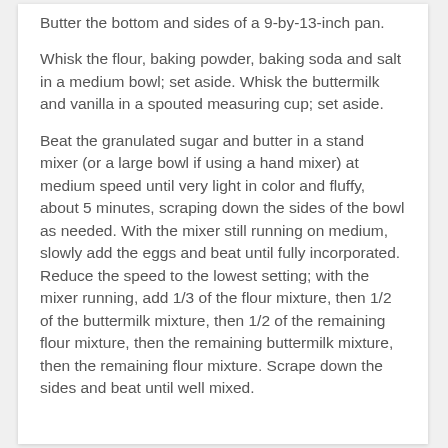Butter the bottom and sides of a 9-by-13-inch pan.
Whisk the flour, baking powder, baking soda and salt in a medium bowl; set aside. Whisk the buttermilk and vanilla in a spouted measuring cup; set aside.
Beat the granulated sugar and butter in a stand mixer (or a large bowl if using a hand mixer) at medium speed until very light in color and fluffy, about 5 minutes, scraping down the sides of the bowl as needed. With the mixer still running on medium, slowly add the eggs and beat until fully incorporated. Reduce the speed to the lowest setting; with the mixer running, add 1/3 of the flour mixture, then 1/2 of the buttermilk mixture, then 1/2 of the remaining flour mixture, then the remaining buttermilk mixture, then the remaining flour mixture. Scrape down the sides and beat until well mixed.